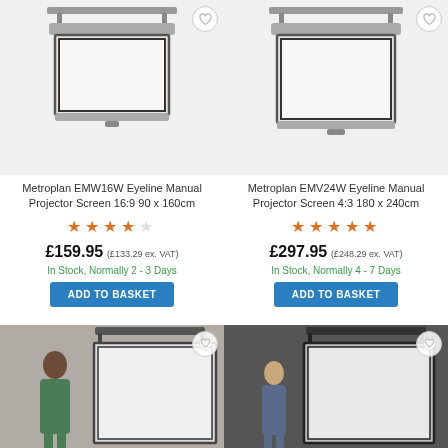[Figure (photo): Metroplan EMW16W projector screen shown deployed, mounted on wall, white background]
[Figure (photo): Metroplan EMV24W projector screen shown deployed, mounted on wall, white background]
Metroplan EMW16W Eyeline Manual Projector Screen 16:9 90 x 160cm
Metroplan EMV24W Eyeline Manual Projector Screen 4:3 180 x 240cm
£159.95 (£133.29 ex. VAT)
£297.95 (£248.29 ex. VAT)
In Stock, Normally 2 - 3 Days
In Stock, Normally 4 - 7 Days
ADD TO BASKET
ADD TO BASKET
[Figure (photo): Metroplan projector screen shown next to person for scale, gray background]
[Figure (photo): Metroplan projector screen shown next to person for scale, dark background]